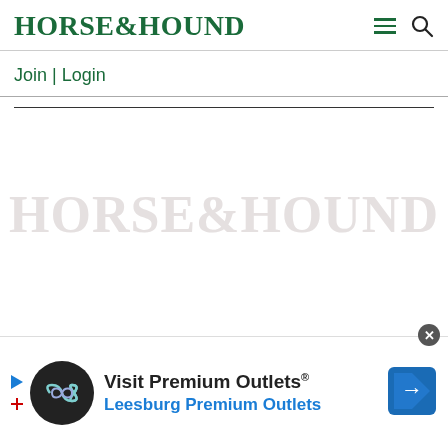HORSE&HOUND
Join | Login
[Figure (logo): Large faded watermark of HORSE&HOUND logo in light gray]
[Figure (infographic): Advertisement banner: Visit Premium Outlets® Leesburg Premium Outlets with circular logo and direction sign icon]